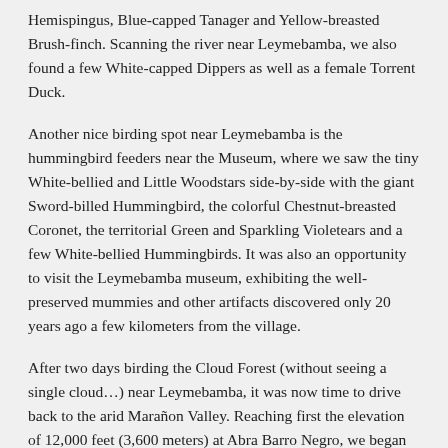Hemispingus, Blue-capped Tanager and Yellow-breasted Brushfinch. Scanning the river near Leymebamba, we also found a few White-capped Dippers as well as a female Torrent Duck.
Another nice birding spot near Leymebamba is the hummingbird feeders near the Museum, where we saw the tiny White-bellied and Little Woodstars side-by-side with the giant Sword-billed Hummingbird, the colorful Chestnut-breasted Coronet, the territorial Green and Sparkling Violetears and a few White-bellied Hummingbirds. It was also an opportunity to visit the Leymebamba museum, exhibiting the well-preserved mummies and other artifacts discovered only 20 years ago a few kilometers from the village.
After two days birding the Cloud Forest (without seeing a single cloud…) near Leymebamba, it was now time to drive back to the arid Marañon Valley. Reaching first the elevation of 12,000 feet (3,600 meters) at Abra Barro Negro, we began the scenic drive down to Balsas at 3,000 feet (900 meters) where we crossed the Marañon River. Obviously, we made several stops on the way down, not only for birding but also to photograph the amazing scenery. During one of these stops, we found a great mixed-species flock including Northern Mountain Cacique, Baron's Spinetail,